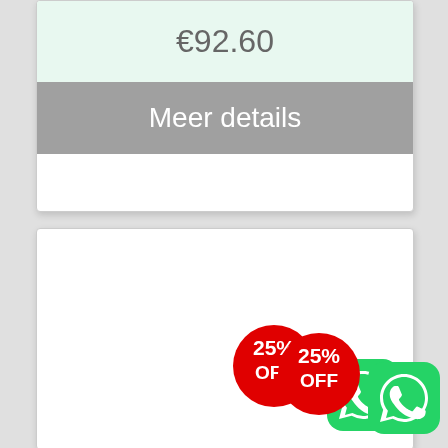€92.60
Meer details
[Figure (illustration): White card with empty content area, a red circular badge showing '25% OFF' in white bold text, and a green WhatsApp icon button in the bottom right corner.]